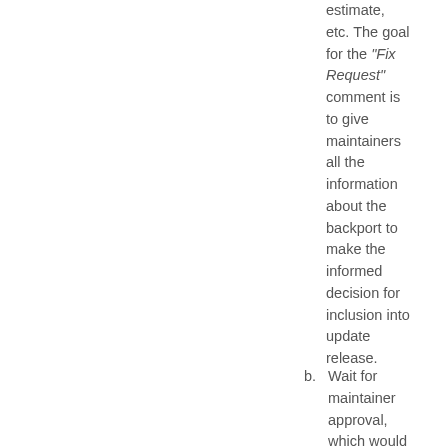estimate, etc. The goal for the "Fix Request" comment is to give maintainers all the information about the backport to make the informed decision for inclusion into update release.
b. Wait for maintainer approval, which would manifest as jdk11u-fix-